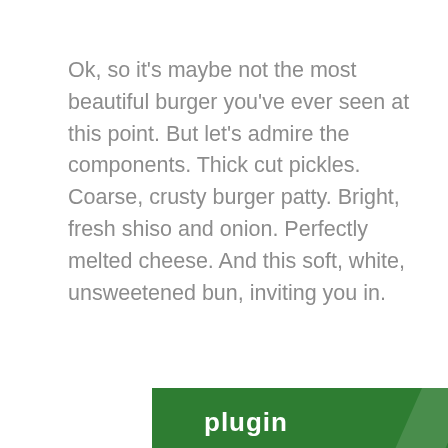Ok, so it’s maybe not the most beautiful burger you’ve ever seen at this point. But let’s admire the components. Thick cut pickles. Coarse, crusty burger patty. Bright, fresh shiso and onion. Perfectly melted cheese. And this soft, white, unsweetened bun, inviting you in.
[Figure (screenshot): Green plugin bar with white bold text 'plugin' and a lighter diagonal stripe overlay]
Privacy & Cookies: This site uses cookies. By continuing to use this website, you agree to their use.
To find out more, including how to control cookies, see here: Cookie Policy
Close and accept